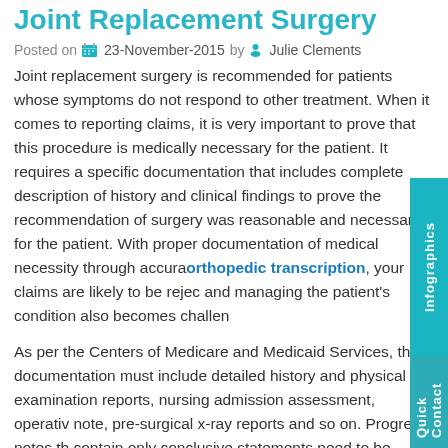Joint Replacement Surgery
Posted on 23-November-2015 by Julie Clements
Joint replacement surgery is recommended for patients whose symptoms do not respond to other treatment. When it comes to reporting claims, it is very important to prove that this procedure is medically necessary for the patient. It requires a specific documentation that includes complete description of history and clinical findings to prove the recommendation of surgery was reasonable and necessary for the patient. Without proper documentation of medical necessity through accurate orthopedic transcription, your claims are likely to be rejected and managing the patient's condition also becomes challenging.
As per the Centers of Medicare and Medicaid Services, the documentation must include detailed history and physical examination reports, nursing admission assessment, operative note, pre-surgical x-ray reports and so on. Progress notes that contain only conclusive statements need to be avoided. The elements of medical necessity documentation according to